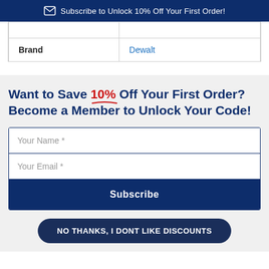Subscribe to Unlock 10% Off Your First Order!
|  |  |
| Brand | Dewalt |
Want to Save 10% Off Your First Order? Become a Member to Unlock Your Code!
Your Name *
Your Email *
Subscribe
NO THANKS, I DONT LIKE DISCOUNTS